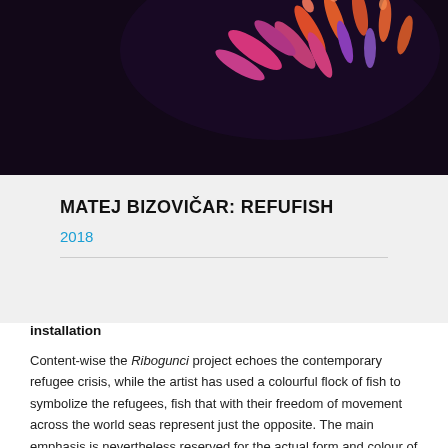[Figure (photo): Dark background photo showing colorful pink, orange, and purple polyurethane foam fish-like creatures against a near-black backdrop.]
MATEJ BIZOVIČAR: REFUFISH
2018
installation
Content-wise the Ribogunci project echoes the contemporary refugee crisis, while the artist has used a colourful flock of fish to symbolize the refugees, fish that with their freedom of movement across the world seas represent just the opposite. The main emphasis is nevertheless reserved for the actual form and colour of these peculiar polyurethane foam creatures. With their pronounced fantastical appearance, the artist tries to convey their alieness and otherness. In Refufish there are beings of